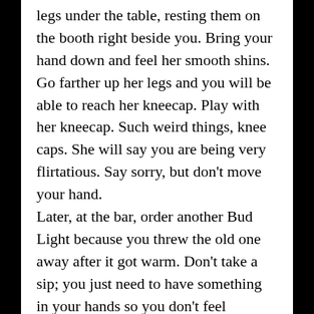legs under the table, resting them on the booth right beside you. Bring your hand down and feel her smooth shins. Go farther up her legs and you will be able to reach her kneecap. Play with her kneecap. Such weird things, knee caps. She will say you are being very flirtatious. Say sorry, but don't move your hand. Later, at the bar, order another Bud Light because you threw the old one away after it got warm. Don't take a sip; you just need to have something in your hands so you don't feel awkward. At the bar, the girl will whisper that she can keep a secret. Don't get excited. Wait. Wait for all her friends to leave. Wait for everyone from school to leave. In fact wait for everyone to leave. Wait till the bar closes. Then